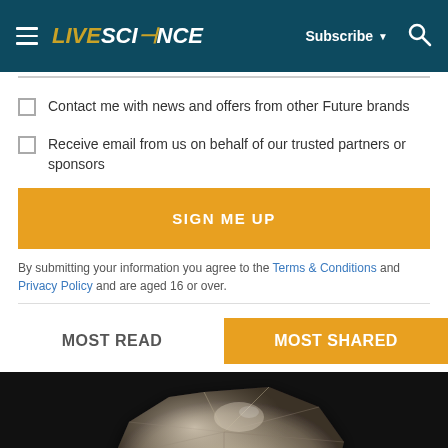LIVESCIENCE | Subscribe | Search
Contact me with news and offers from other Future brands
Receive email from us on behalf of our trusted partners or sponsors
SIGN ME UP
By submitting your information you agree to the Terms & Conditions and Privacy Policy and are aged 16 or over.
MOST READ
MOST SHARED
[Figure (photo): A metallic or rocky mineral specimen on a black background]